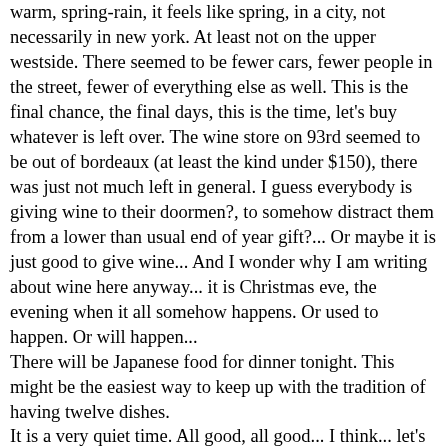warm, spring-rain, it feels like spring, in a city, not necessarily in new york. At least not on the upper westside. There seemed to be fewer cars, fewer people in the street, fewer of everything else as well. This is the final chance, the final days, this is the time, let's buy whatever is left over. The wine store on 93rd seemed to be out of bordeaux (at least the kind under $150), there was just not much left in general. I guess everybody is giving wine to their doormen?, to somehow distract them from a lower than usual end of year gift?... Or maybe it is just good to give wine... And I wonder why I am writing about wine here anyway... it is Christmas eve, the evening when it all somehow happens. Or used to happen. Or will happen...
There will be Japanese food for dinner tonight. This might be the easiest way to keep up with the tradition of having twelve dishes.
It is a very quiet time. All good, all good... I think... let's celebrate... somehow... please...
Witold Riedel | 11:26 AM
December 23, 2003
«November 2003 | Front | January 2004 »
December 23, 2003